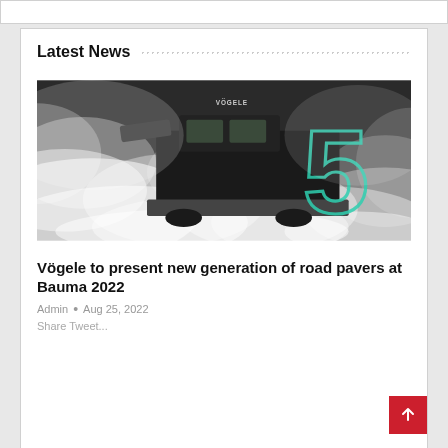Latest News
[Figure (photo): Black and white photo of a Vögele road paver partially obscured by smoke/fog, with a large teal/green outlined number 5 overlaid on the right side]
Vögele to present new generation of road pavers at Bauma 2022
Admin • Aug 25, 2022
Share Tweet...